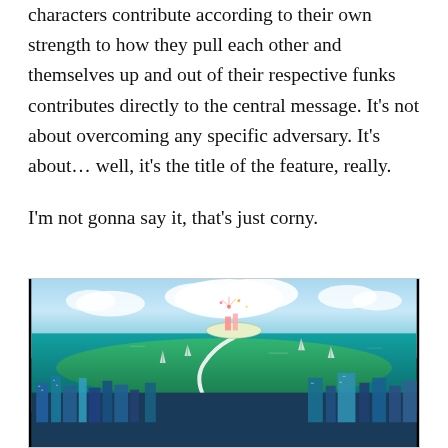characters contribute according to their own strength to how they pull each other and themselves up and out of their respective funks contributes directly to the central message. It’s not about overcoming any specific adversary. It’s about… well, it’s the title of the feature, really.
I’m not gonna say it, that’s just corny.
[Figure (illustration): Anime-style illustration showing a panoramic aerial view of a futuristic coastal city with a winding white road/path leading toward a floating island or structure in the ocean, surrounded by blue-green water, sailboats, fireworks in the sky, and a dense urban cityscape in the foreground.]